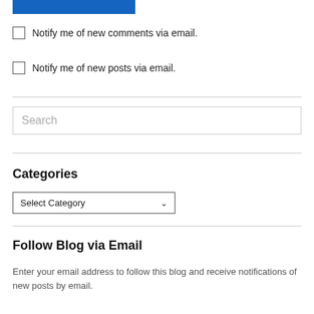[Figure (other): Blue rectangular button/bar at top]
Notify me of new comments via email.
Notify me of new posts via email.
Search
Categories
Select Category
Follow Blog via Email
Enter your email address to follow this blog and receive notifications of new posts by email.